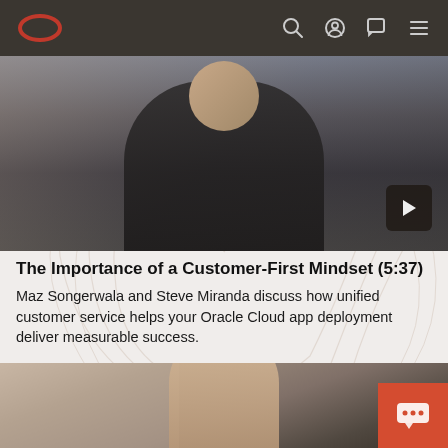Oracle navigation bar with logo and icons
[Figure (screenshot): Video thumbnail showing a man in a suit jacket sitting for an interview, with a play button overlay in the bottom right corner]
The Importance of a Customer-First Mindset (5:37)
Maz Songerwala and Steve Miranda discuss how unified customer service helps your Oracle Cloud app deployment deliver measurable success.
[Figure (photo): Photo of a smiling middle-aged man with graying hair in a dark jacket, partially visible at the bottom of the page, with a chat support button in the bottom right corner]